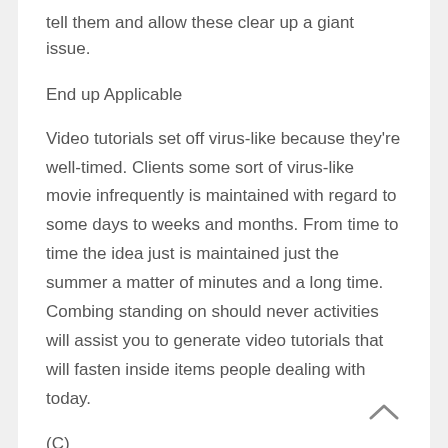tell them and allow these clear up a giant issue.
End up Applicable
Video tutorials set off virus-like because they're well-timed. Clients some sort of virus-like movie infrequently is maintained with regard to some days to weeks and months. From time to time the idea just is maintained just the summer a matter of minutes and a long time. Combing standing on should never activities will assist you to generate video tutorials that will fasten inside items people dealing with today.
(C)
Generate A great Breathtaking Heading